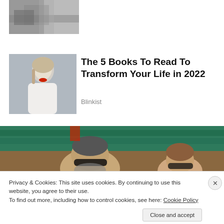[Figure (photo): Cropped grayscale photo of an animal or natural scene at the top left]
[Figure (photo): Portrait photo of a blonde woman with red lipstick in white clothing]
The 5 Books To Read To Transform Your Life in 2022
Blinkist
[Figure (photo): Photo of two people sitting in stadium seats, man with sunglasses in foreground, woman with sunglasses behind]
Privacy & Cookies: This site uses cookies. By continuing to use this website, you agree to their use.
To find out more, including how to control cookies, see here: Cookie Policy
Close and accept